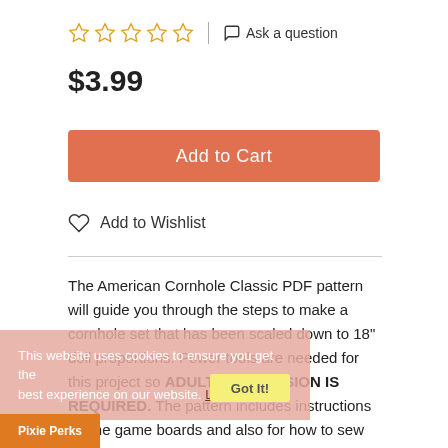[Figure (other): Five empty star rating icons in gold/yellow outline]
Ask a question
$3.99
Add to Cart
Add to Wishlist
The American Cornhole Classic PDF pattern will guide you through the steps to make a cornhole set that has been scaled down to 18" doll proportions. Power tools are needed for this project so ADULT SUPERVISION IS REQUIRED. The pattern includes instructions for the game boards and also for how to sew the bags. Game play instructions have also included.
This website uses cookies to ensure you get the best experience on our website. Learn more
Got It!
Pixie Perks